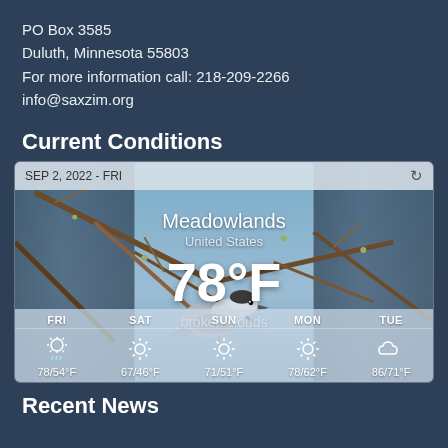PO Box 3585
Duluth, Minnesota 55803
For more information call: 218-209-2266
info@saxzim.org
Current Conditions
[Figure (infographic): Weather widget showing current conditions for Meadowlands, United States. Date: SEP 2, 2022 - FRI. Temperature: 78°F, broken clouds. Background shows a bird on branches. 5-day forecast: FRI 78/54°F, SAT 67/46°F, SUN 71/51°F, MON 78/62°F, TUE 86/71°F.]
Recent News